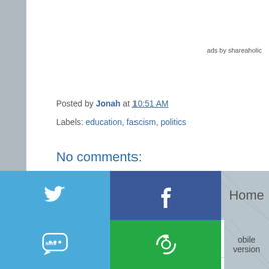ads by shareaholic
Posted by Jonah at 10:51 AM
Labels: education, fascism, politics
No comments:
Post a Comment
[Figure (screenshot): Comment input area with avatar circle and Enter Comment placeholder text]
[Figure (infographic): Social share buttons grid: Twitter (blue), Facebook (dark blue), Email (grey), WhatsApp (green), SMS (blue), share icon (green), Home link, Mobile version link]